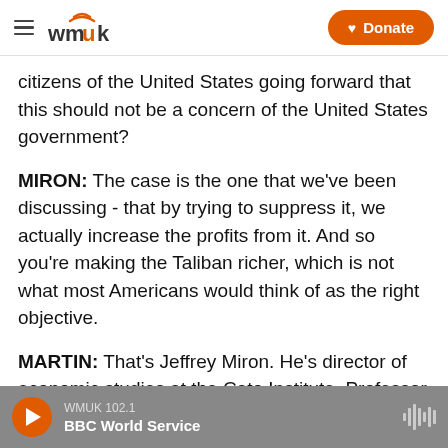wmuk — Donate
citizens of the United States going forward that this should not be a concern of the United States government?
MIRON: The case is the one that we've been discussing - that by trying to suppress it, we actually increase the profits from it. And so you're making the Taliban richer, which is not what most Americans would think of as the right objective.
MARTIN: That's Jeffrey Miron. He's director of economic studies at the Cato Institute. Professor Miron, thanks so much for talking with us.
WMUK 102.1 BBC World Service